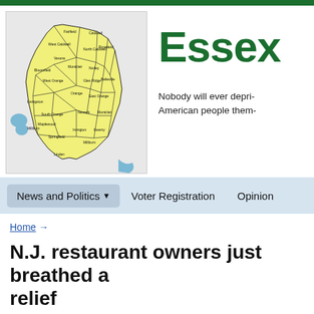[Figure (map): Map of Essex County, NJ showing municipalities outlined in black on a yellow background with surrounding gray areas and blue water features]
Essex
Nobody will ever depri- American people them-
News and Politics ▼    Voter Registration    Opinion
Home →
N.J. restaurant owners just breathed a relief
Posted by Essex County Politics 1sc on December 12, 2020